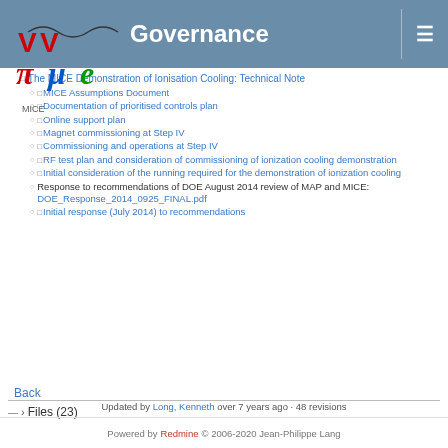Governance
The MICE Demonstration of Ionisation Cooling: Technical Note
MICE Assumptions Document
Documentation of prioritised controls plan
Online support plan
Magnet commissioning at Step IV
Commissioning and operations at Step IV
RF test plan and consideration of commissioning of ionization cooling demonstration
Initial consideration of the running required for the demonstration of ionization cooling
Response to recommendations of DOE August 2014 review of MAP and MICE: DOE_Response_2014_0925_FINAL.pdf
Initial response (July 2014) to recommendations
Back
Files (23)
Updated by Long, Kenneth over 7 years ago · 48 revisions
Powered by Redmine © 2006-2020 Jean-Philippe Lang